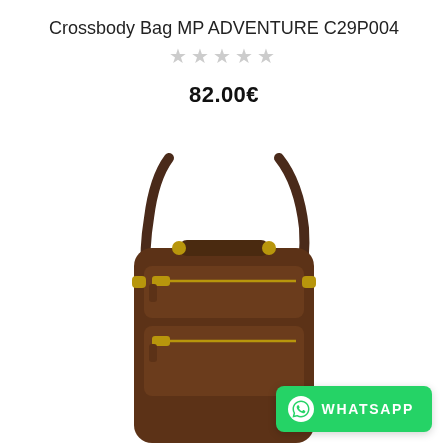Crossbody Bag MP ADVENTURE C29P004
★★★★★ (empty stars rating)
82.00€
[Figure (photo): Brown leather crossbody bag with zipper pockets and shoulder strap, MP ADVENTURE C29P004]
WHATSAPP